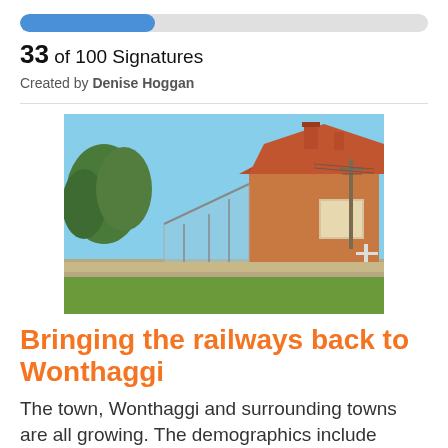[Figure (infographic): Progress bar showing 33 of 100 signatures, approximately 33% filled in blue]
33 of 100 Signatures
Created by Denise Hoggan
[Figure (photo): Photograph of Wonthaggi railway station building — a brick heritage building with a red tiled hip roof, chimneys, and a modern glass and steel canopy extension in front, set on a low stone platform wall with green lawn and trees in the background under a clear blue sky.]
Bringing the railways back to Wonthaggi
The town, Wonthaggi and surrounding towns are all growing. The demographics include diverse age groups, not just the elderly.